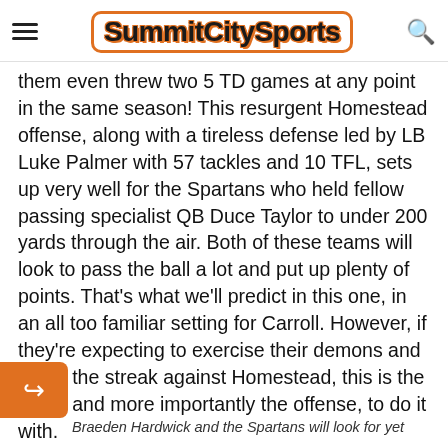SummitCitySports
them even threw two 5 TD games at any point in the same season! This resurgent Homestead offense, along with a tireless defense led by LB Luke Palmer with 57 tackles and 10 TFL, sets up very well for the Spartans who held fellow passing specialist QB Duce Taylor to under 200 yards through the air. Both of these teams will look to pass the ball a lot and put up plenty of points. That's what we'll predict in this one, in an all too familiar setting for Carroll. However, if they're expecting to exercise their demons and break the streak against Homestead, this is the team, and more importantly the offense, to do it with.
Braeden Hardwick and the Spartans will look for yet